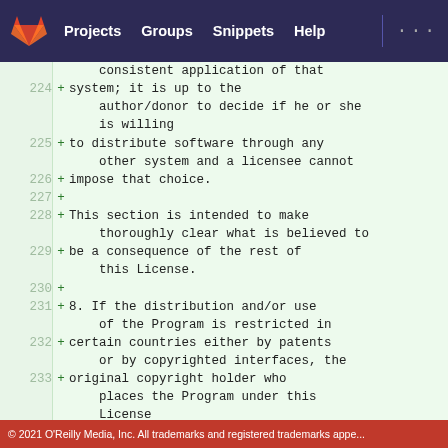Projects  Groups  Snippets  Help
consistent application of that
224 + system; it is up to the
       author/donor to decide if he or she
       is willing
225  + to distribute software through any
       other system and a licensee cannot
226  + impose that choice.
227  +
228  + This section is intended to make
       thoroughly clear what is believed to
229  + be a consequence of the rest of
       this License.
230  +
231  + 8. If the distribution and/or use
       of the Program is restricted in
232  + certain countries either by patents
       or by copyrighted interfaces, the
233  + original copyright holder who
       places the Program under this
       License
© 2021 O'Reilly Media, Inc. All trademarks and registered trademarks appe...